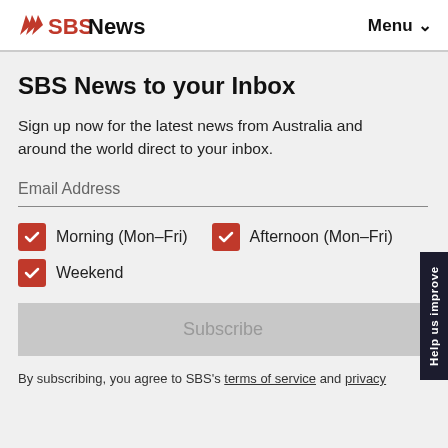SBS News  Menu ∨
SBS News to your Inbox
Sign up now for the latest news from Australia and around the world direct to your inbox.
Email Address
Morning (Mon–Fri)
Afternoon (Mon–Fri)
Weekend
Subscribe
By subscribing, you agree to SBS's terms of service and privacy